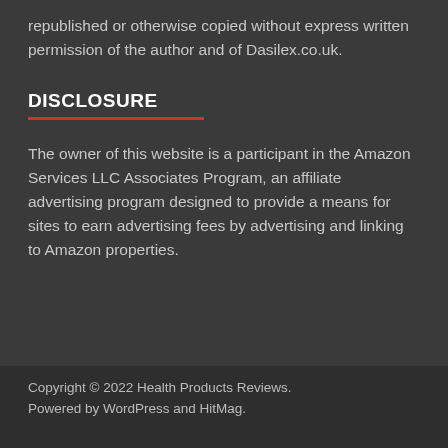republished or otherwise copied without express written permission of the author and of Dasilex.co.uk.
DISCLOSURE
The owner of this website is a participant in the Amazon Services LLC Associates Program, an affiliate advertising program designed to provide a means for sites to earn advertising fees by advertising and linking to Amazon properties.
Copyright © 2022 Health Products Reviews.
Powered by WordPress and HitMag.